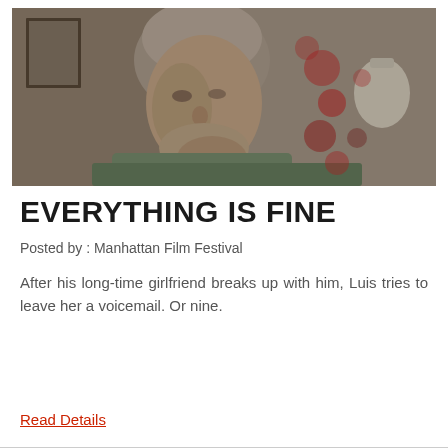[Figure (photo): A young man wearing a beige knit beanie hat and a green hoodie, looking downward, with bokeh lights (red/pink) and a lamp visible in the background.]
EVERYTHING IS FINE
Posted by : Manhattan Film Festival
After his long-time girlfriend breaks up with him, Luis tries to leave her a voicemail. Or nine.
Read Details